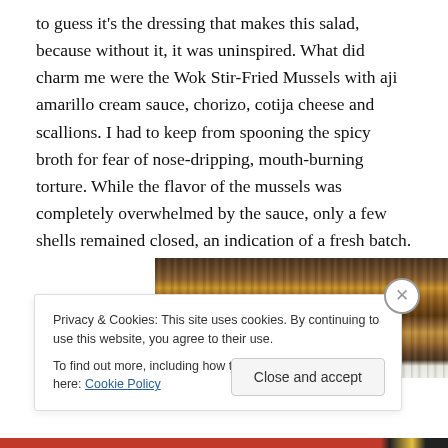to guess it's the dressing that makes this salad, because without it, it was uninspired. What did charm me were the Wok Stir-Fried Mussels with aji amarillo cream sauce, chorizo, cotija cheese and scallions. I had to keep from spooning the spicy broth for fear of nose-dripping, mouth-burning torture. While the flavor of the mussels was completely overwhelmed by the sauce, only a few shells remained closed, an indication of a fresh batch.
[Figure (photo): Partial photo of what appears to be a wooden surface or food dish, top portion visible, partially obscured by cookie banner overlay]
Privacy & Cookies: This site uses cookies. By continuing to use this website, you agree to their use.
To find out more, including how to control cookies, see here: Cookie Policy
Close and accept